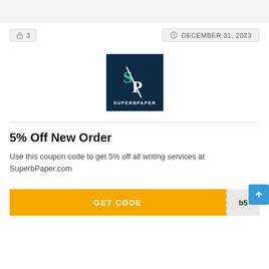3
DECEMBER 31, 2023
[Figure (logo): SuperbPaper logo — dark navy blue square with stylized S/P letters in teal/white and 'SUPERBPAPER' text below]
5% Off New Order
Use this coupon code to get 5% off all writing services at SuperbPaper.com
GET CODE  b5